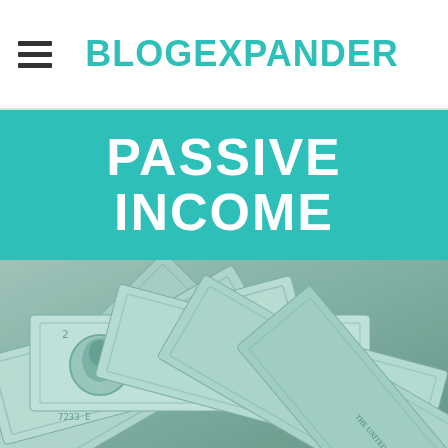BLOGEXPANDER
PASSIVE INCOME
[Figure (photo): Fan of US one-dollar bills spread out in a grayscale/teal-tinted photograph, showing multiple bills fanned from a central point with George Washington visible on one bill and serial number B61629723 visible.]